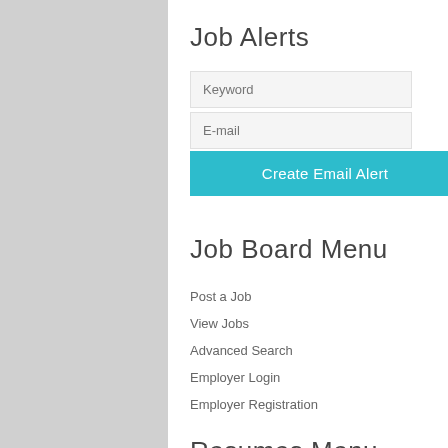Job Alerts
Keyword
E-mail
Create Email Alert
Job Board Menu
Post a Job
View Jobs
Advanced Search
Employer Login
Employer Registration
Resumes Menu